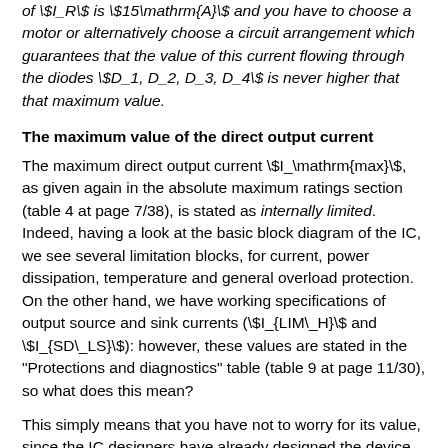of \$I_R\$ is \$15\mathrm{A}\$ and you have to choose a motor or alternatively choose a circuit arrangement which guarantees that the value of this current flowing through the diodes \$D_1, D_2, D_3, D_4\$ is never higher that that maximum value.
The maximum value of the direct output current
The maximum direct output current \$I_\mathrm{max}\$, as given again in the absolute maximum ratings section (table 4 at page 7/38), is stated as internally limited. Indeed, having a look at the basic block diagram of the IC, we see several limitation blocks, for current, power dissipation, temperature and general overload protection. On the other hand, we have working specifications of output source and sink currents (\$I_{LIM\_H}\$ and \$I_{SD\_LS}\$): however, these values are stated in the "Protections and diagnostics" table (table 9 at page 11/30), so what does this mean?
This simply means that you have not to worry for its value, since the IC designers have already designed the device in